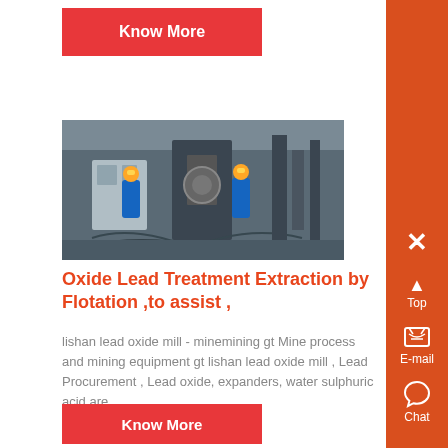Know More
[Figure (photo): Industrial factory floor with workers in blue uniforms and yellow helmets operating heavy machinery]
Oxide Lead Treatment Extraction by Flotation ,to assist ,
lishan lead oxide mill - minemining gt Mine process and mining equipment gt lishan lead oxide mill , Lead Procurement , Lead oxide, expanders, water sulphuric acid are ,...
Know More